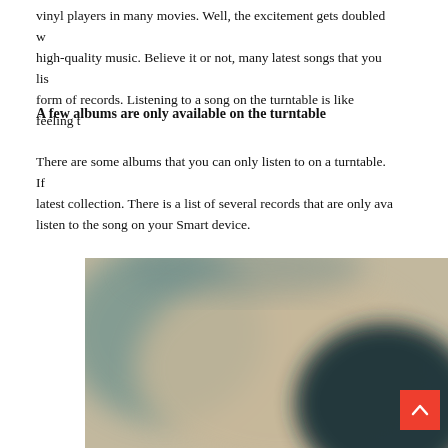vinyl players in many movies. Well, the excitement gets doubled w... high-quality music. Believe it or not, many latest songs that you lis... form of records. Listening to a song on the turntable is like feeling t...
A few albums are only available on the turntable
There are some albums that you can only listen to on a turntable. If... latest collection. There is a list of several records that are only ava... listen to the song on your Smart device.
[Figure (photo): A blurred/defocused photo showing what appears to be a vinyl record or turntable, with muted beige/teal/dark tones. A red 'back to top' arrow button is overlaid in the bottom-right corner.]